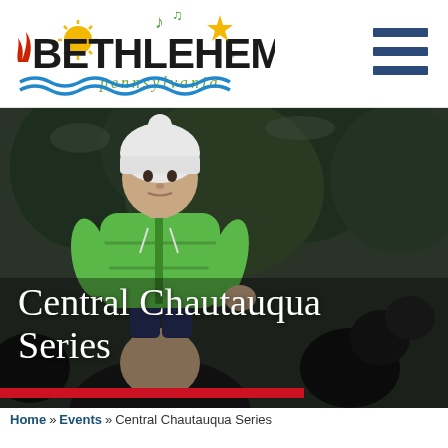[Figure (logo): City of Bethlehem Pennsylvania logo with stylized text, sun, music notes, flames, and water waves]
[Figure (photo): Child in green puffy jacket and white knit hat sitting on adult's shoulders in a crowd outdoors with evergreen trees in background]
Central Chautauqua Series
Home » Events » Central Chautauqua Series